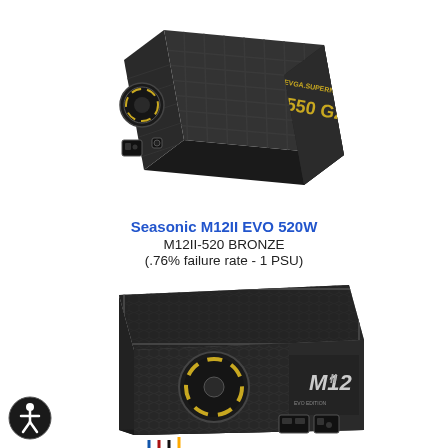[Figure (photo): EVGA SuperNOVA 550 G2 power supply unit, black, shown at an angle with mesh ventilation grille and brand markings visible.]
Seasonic M12II EVO 520W
M12II-520 BRONZE
(.76% failure rate - 1 PSU)
[Figure (photo): Seasonic M12II EVO power supply unit, black, shown at an angle with honeycomb mesh ventilation, fan visible, M12II branding on side.]
[Figure (illustration): Accessibility icon: person in circle, wheelchair accessibility symbol.]